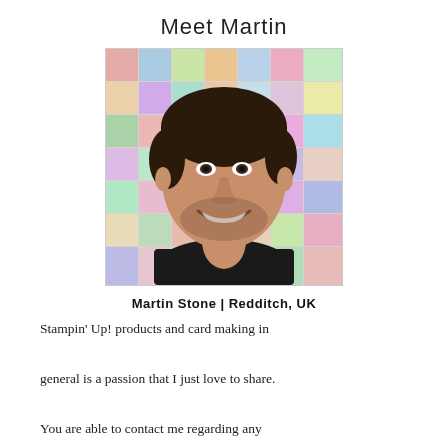Meet Martin
[Figure (photo): Portrait photo of Martin Stone smiling, wearing a black t-shirt, standing in front of a wall covered with colorful greeting cards and crafts.]
Martin Stone | Redditch, UK
Stampin' Up! products and card making in general is a passion that I just love to share. You are able to contact me regarding any Stampin' Up! products or services via the